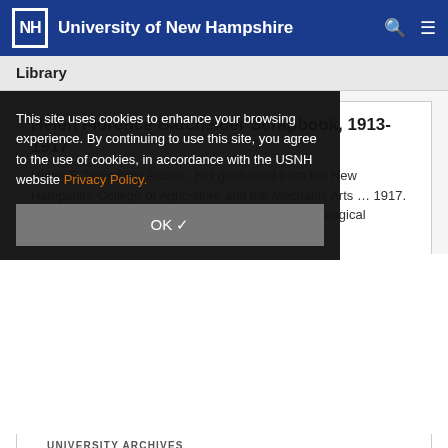University of New Hampshire
Library
Helen Florence Batchelder Scrapbook, 1913-1917
Helen F. Tilton from Auburn, NH graduated from the New Hampshire College of Agriculture and the Mechanic Arts … 1917. She was a member of Pi Gamma, the honorary Zoological Fraternity … Society and the Chi … rity. She was …
This site uses cookies to enhance your browsing experience. By continuing to use this site, you agree to the use of cookies, in accordance with the USNH website Privacy Policy.
OK ✓
UNIVERSITY ARCHIVES
Arthur S. Adams Papers, 1948-1950